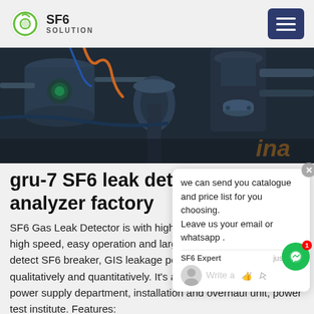SF6 SOLUTION
[Figure (photo): Industrial SF6 equipment and machinery in a factory setting, dark blue-grey toned photo showing pipes, valves, and equipment with 'ina' text visible at lower right]
gru-7 SF6 leak detector analyzer factory
SF6 Gas Leak Detector is with high sensitivity, good stability, high speed, easy operation and large moving range. It rapidly detect SF6 breaker, GIS leakage point and yearly leakage rate qualitatively and quantitatively. It's a good device suitable for power supply department, installation and overhaul unit, power test institute. Features: